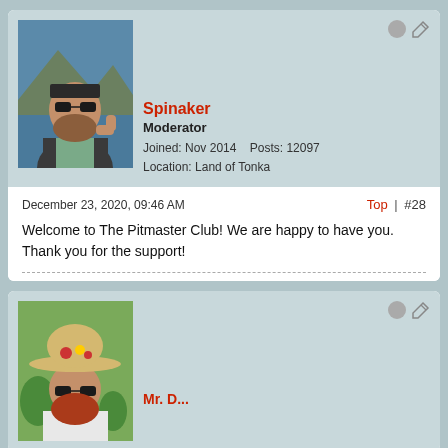[Figure (photo): Avatar photo of user Spinaker: man with sunglasses and beard outdoors by water, giving thumbs up]
Spinaker
Moderator
Joined: Nov 2014    Posts: 12097
Location: Land of Tonka
December 23, 2020, 09:46 AM
Top | #28
Welcome to The Pitmaster Club! We are happy to have you. Thank you for the support!
[Figure (photo): Avatar photo of second user: man wearing large brimmed hat with fruit decoration and sunglasses, with a red beard]